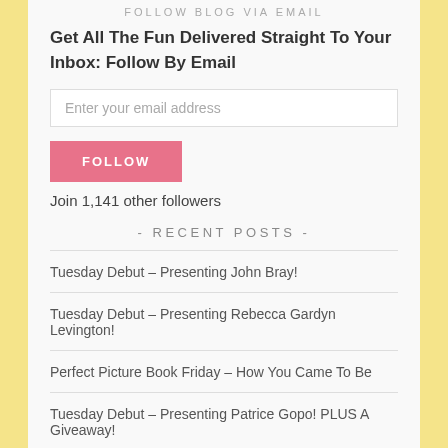FOLLOW BLOG VIA EMAIL
Get All The Fun Delivered Straight To Your Inbox: Follow By Email
Enter your email address
FOLLOW
Join 1,141 other followers
- RECENT POSTS -
Tuesday Debut – Presenting John Bray!
Tuesday Debut – Presenting Rebecca Gardyn Levington!
Perfect Picture Book Friday – How You Came To Be
Tuesday Debut – Presenting Patrice Gopo! PLUS A Giveaway!